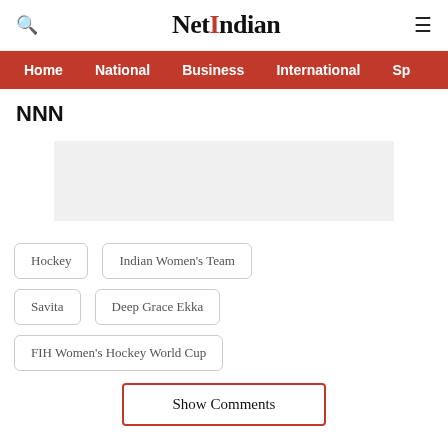NetIndian
Home | National | Business | International | Sp
NNN
[Figure (other): Advertisement placeholder box (light gray rectangle)]
Hockey
Indian Women's Team
Savita
Deep Grace Ekka
FIH Women's Hockey World Cup
Show Comments